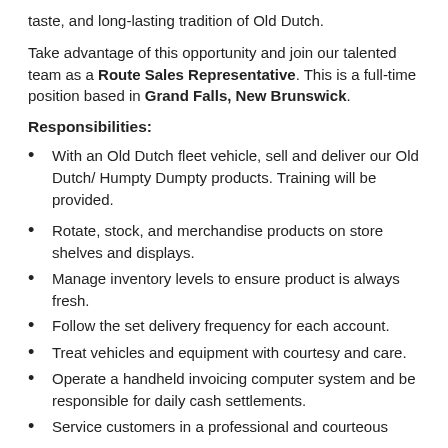taste, and long-lasting tradition of Old Dutch.
Take advantage of this opportunity and join our talented team as a Route Sales Representative. This is a full-time position based in Grand Falls, New Brunswick.
Responsibilities:
With an Old Dutch fleet vehicle, sell and deliver our Old Dutch/ Humpty Dumpty products. Training will be provided.
Rotate, stock, and merchandise products on store shelves and displays.
Manage inventory levels to ensure product is always fresh.
Follow the set delivery frequency for each account.
Treat vehicles and equipment with courtesy and care.
Operate a handheld invoicing computer system and be responsible for daily cash settlements.
Service customers in a professional and courteous